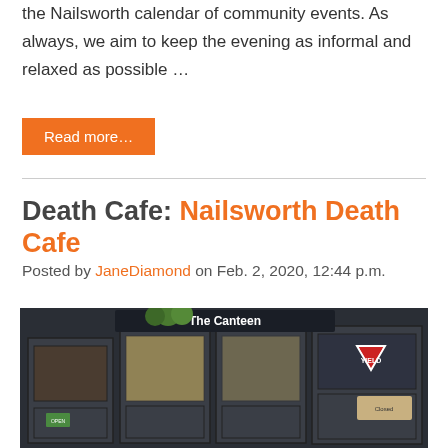the Nailsworth calendar of community events. As always, we aim to keep the evening as informal and relaxed as possible …
Read more…
Death Cafe: Nailsworth Death Cafe
Posted by JaneDiamond on Feb. 2, 2020, 12:44 p.m.
[Figure (photo): Exterior of The Canteen cafe, a dark-painted building with glass doors, a hanging plant basket, and a red yield/give way sign on the right door.]